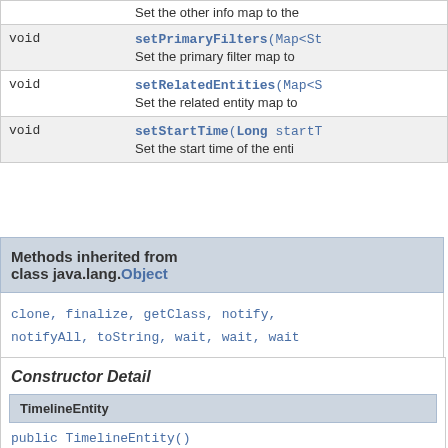| Type | Method and Description |
| --- | --- |
| void | setPrimaryFilters(Map<St...
Set the primary filter map to... |
| void | setRelatedEntities(Map<S...
Set the related entity map to... |
| void | setStartTime(Long startT...
Set the start time of the enti... |
Methods inherited from class java.lang.Object
clone, finalize, getClass, notify, notifyAll, toString, wait, wait, wait
Constructor Detail
TimelineEntity
public TimelineEntity()